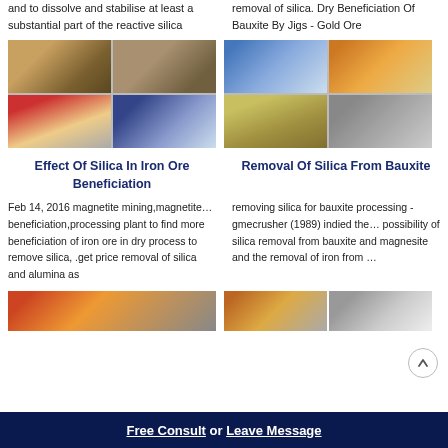and to dissolve and stabilise at least a substantial part of the reactive silica
removal of silica. Dry Beneficiation Of Bauxite By Jigs - Gold Ore
[Figure (photo): Four-image grid showing mining/beneficiation equipment and plant]
[Figure (photo): Four-image grid showing bauxite processing equipment and mine site]
Effect Of Silica In Iron Ore Beneficiation
Removal Of Silica From Bauxite
Feb 14, 2016 magnetite mining,magnetite… beneficiation,processing plant to find more beneficiation of iron ore in dry process to remove silica, .get price removal of silica and alumina as
removing silica for bauxite processing - gmecrusher (1989) indied the… possibility of silica removal from bauxite and magnesite and the removal of iron from …
[Figure (photo): Two-image collage showing industrial plant equipment (bottom left column)]
[Figure (photo): Two-image collage showing mining site (bottom right column)]
Free Consult  or  Leave Message